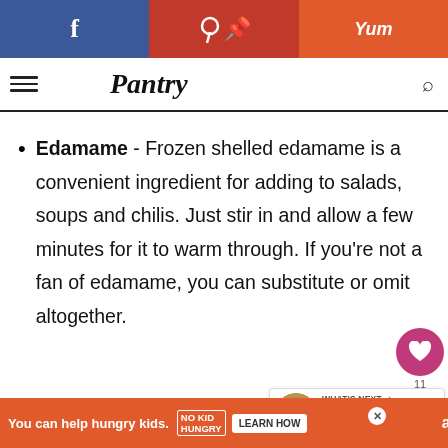Pantry
Edamame - Frozen shelled edamame is a convenient ingredient for adding to salads, soups and chilis. Just stir in and allow a few minutes for it to warm through. If you're not a fan of edamame, you can substitute or omit altogether.
[Figure (screenshot): What's Next promo showing Chorizo Huevos...]
You can help hungry kids. NO KID HUNGRY LEARN HOW